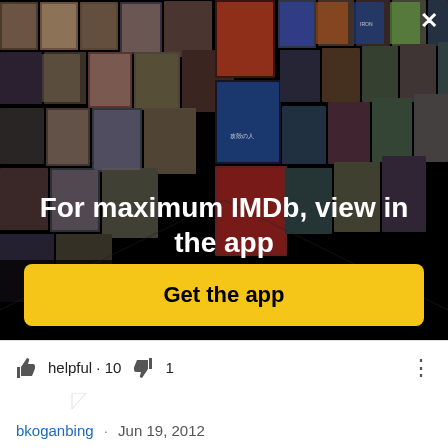[Figure (screenshot): IMDb app promotion banner showing a collage of celebrity photos and movie posters arranged in a 3D perspective grid on a black background, with a close (X) button in the top right corner.]
For maximum IMDb, view in the app
Get the app
helpful · 10 · 1
bkoganbing · Jun 19, 2012